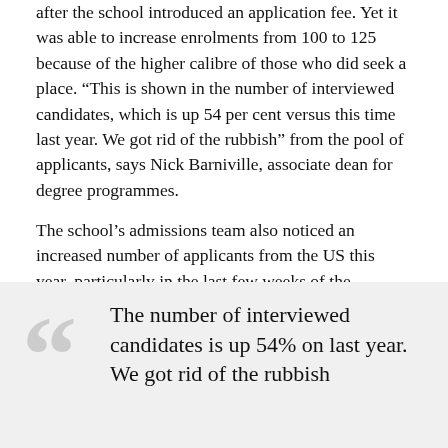after the school introduced an application fee. Yet it was able to increase enrolments from 100 to 125 because of the higher calibre of those who did seek a place. “This is shown in the number of interviewed candidates, which is up 54 per cent versus this time last year. We got rid of the rubbish” from the pool of applicants, says Nick Barniville, associate dean for degree programmes.
The school’s admissions team also noticed an increased number of applicants from the US this year, particularly in the last few weeks of the admissions cycle. In contrast, the number of Asian applicants declining places was slightly up, suggesting that coronavirus has made some people reluctant to travel to study, according to Barniville. “It’s mainly because of parents saying we don’t want our child travelling.”
The number of interviewed candidates is up 54% on last year. We got rid of the rubbish